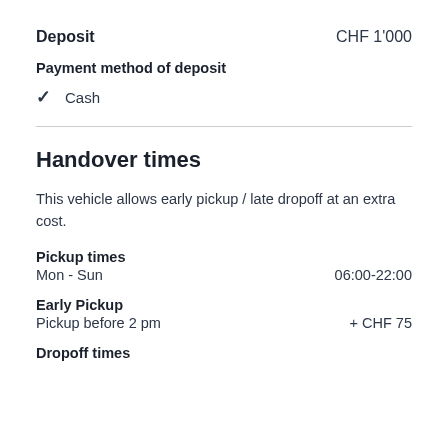Deposit    CHF 1'000
Payment method of deposit
✓  Cash
Handover times
This vehicle allows early pickup / late dropoff at an extra cost.
Pickup times
Mon - Sun    06:00-22:00
Early Pickup
Pickup before 2 pm    + CHF 75
Dropoff times